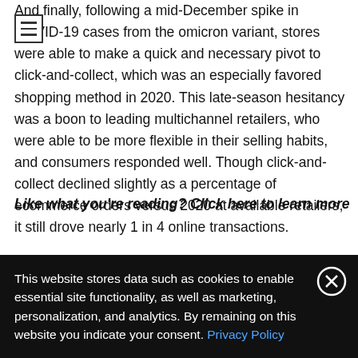And finally, following a mid-December spike in COVID-19 cases from the omicron variant, stores were able to make a quick and necessary pivot to click-and-collect, which was an especially favored shopping method in 2020. This late-season hesitancy was a boon to leading multichannel retailers, who were able to be more flexible in their selling habits, and consumers responded well. Though click-and-collect declined slightly as a percentage of ecommerce orders versus 2020 at available retailers, it still drove nearly 1 in 4 online transactions.
Like what you're reading? Click here to learn more
This website stores data such as cookies to enable essential site functionality, as well as marketing, personalization, and analytics. By remaining on this website you indicate your consent. Privacy Policy